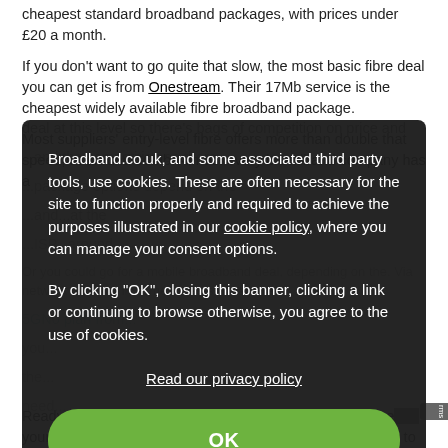cheapest standard broadband packages, with prices under £20 a month.
If you don't want to go quite that slow, the most basic fibre deal you can get is from Onestream. Their 17Mb service is the cheapest widely available fibre broadband package.
Most suppliers' entry-level fibre offers more than double that speed, at around 36Mb. Almost every broadband company has a deal at this level so there's bags of competition on price and...
Broadband.co.uk, and some associated third party tools, use cookies. These are often necessary for the site to function properly and required to achieve the purposes illustrated in our cookie policy, where you can manage your consent options.

By clicking "OK", closing this banner, clicking a link or continuing to browse otherwise, you agree to the use of cookies.

Read our privacy policy
OK
Ready to start shopping for a new broadband deal? Just enter your postcode into our postcode checker and you'll be able to